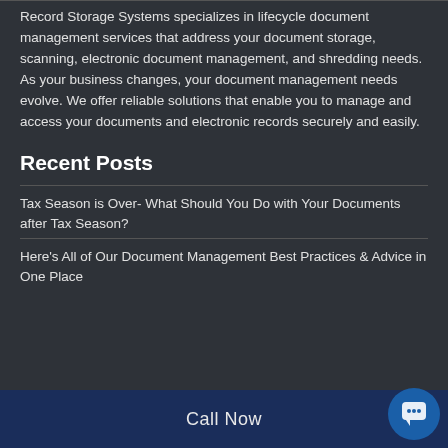Record Storage Systems specializes in lifecycle document management services that address your document storage, scanning, electronic document management, and shredding needs. As your business changes, your document management needs evolve. We offer reliable solutions that enable you to manage and access your documents and electronic records securely and easily.
Recent Posts
Tax Season is Over- What Should You Do with Your Documents after Tax Season?
Here's All of Our Document Management Best Practices & Advice in One Place
Call Now